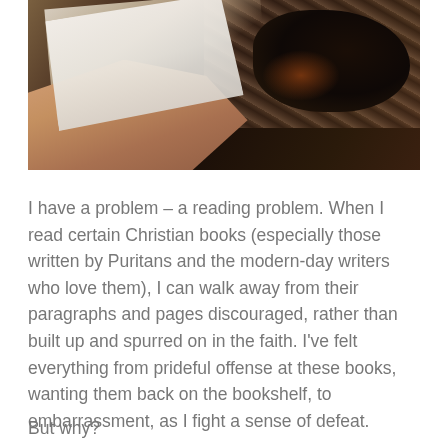[Figure (photo): A person holding a book with hands visible, with dark curly hair and a knitted texture visible in the upper right. Warm tones throughout.]
I have a problem – a reading problem. When I read certain Christian books (especially those written by Puritans and the modern-day writers who love them), I can walk away from their paragraphs and pages discouraged, rather than built up and spurred on in the faith. I've felt everything from prideful offense at these books, wanting them back on the bookshelf, to embarrassment, as I fight a sense of defeat.
But why?